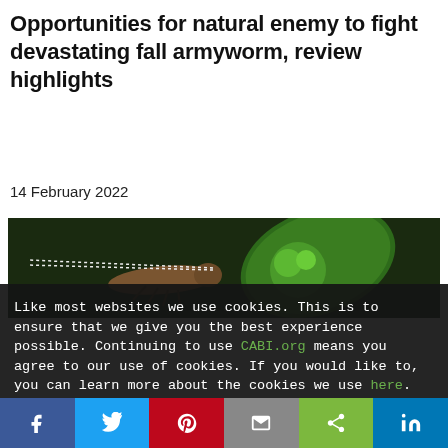Opportunities for natural enemy to fight devastating fall armyworm, review highlights
14 February 2022
[Figure (photo): Close-up macro photograph of an insect (parasitoid wasp or similar) on a green plant bud against a dark background]
Like most websites we use cookies. This is to ensure that we give you the best experience possible. Continuing to use CABI.org means you agree to our use of cookies. If you would like to, you can learn more about the cookies we use here.